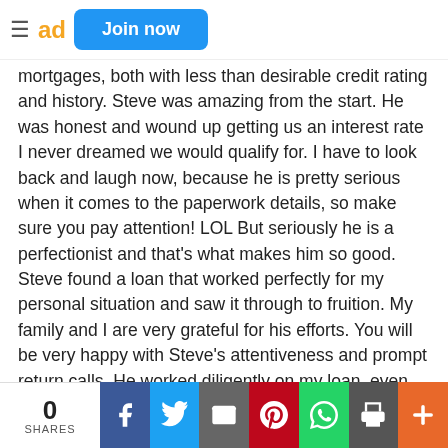≡ ad Join now
mortgages, both with less than desirable credit rating and history. Steve was amazing from the start. He was honest and wound up getting us an interest rate I never dreamed we would qualify for. I have to look back and laugh now, because he is pretty serious when it comes to the paperwork details, so make sure you pay attention! LOL But seriously he is a perfectionist and that's what makes him so good. Steve found a loan that worked perfectly for my personal situation and saw it through to fruition. My family and I are very grateful for his efforts. You will be very happy with Steve's attentiveness and prompt return calls. He worked diligently on my loan, even when he was on vacation with his family in Lake Tahoe. Steve will most certainly be the one I, and friends of mine, will turn to for future mortgage needs. Jennifer/ Wellington, FL מאן לכל ,דבעי
0 SHARES | Facebook | Twitter | Email | Pinterest | WhatsApp | Print | More